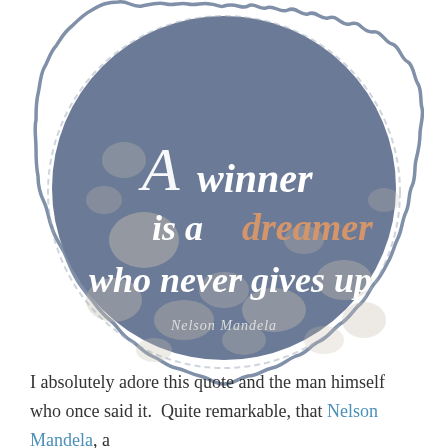[Figure (illustration): A circular badge with wavy/scalloped dark gray-blue border on white background. Inside the badge is a dark slate-blue textured circular area with decorative text: 'A winner is a dreamer who never gives up' with 'dreamer' in orange/coral color, and attribution 'Nelson Mandela' in script below.]
I absolutely adore this quote and the man himself who once said it.  Quite remarkable, that Nelson Mandela, a